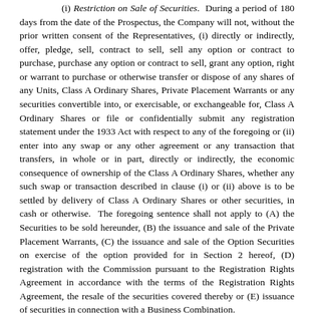(i) Restriction on Sale of Securities. During a period of 180 days from the date of the Prospectus, the Company will not, without the prior written consent of the Representatives, (i) directly or indirectly, offer, pledge, sell, contract to sell, sell any option or contract to purchase, purchase any option or contract to sell, grant any option, right or warrant to purchase or otherwise transfer or dispose of any shares of any Units, Class A Ordinary Shares, Private Placement Warrants or any securities convertible into, or exercisable, or exchangeable for, Class A Ordinary Shares or file or confidentially submit any registration statement under the 1933 Act with respect to any of the foregoing or (ii) enter into any swap or any other agreement or any transaction that transfers, in whole or in part, directly or indirectly, the economic consequence of ownership of the Class A Ordinary Shares, whether any such swap or transaction described in clause (i) or (ii) above is to be settled by delivery of Class A Ordinary Shares or other securities, in cash or otherwise. The foregoing sentence shall not apply to (A) the Securities to be sold hereunder, (B) the issuance and sale of the Private Placement Warrants, (C) the issuance and sale of the Option Securities on exercise of the option provided for in Section 2 hereof, (D) registration with the Commission pursuant to the Registration Rights Agreement in accordance with the terms of the Registration Rights Agreement, the resale of the securities covered thereby or (E) issuance of securities in connection with a Business Combination.
(j) [Intentionally Omitted.]
(k) Reporting Requirements. The Company, during the period when a Prospectus relating to the Securities is (or, but for the exception afforded by Rule 172, would be) required to be delivered under the 1933 Act, will file all documents required to be filed with the Commission pursuant to the 1934 Act within the time periods required by the 1934 Act and 1934 Act Regulations.